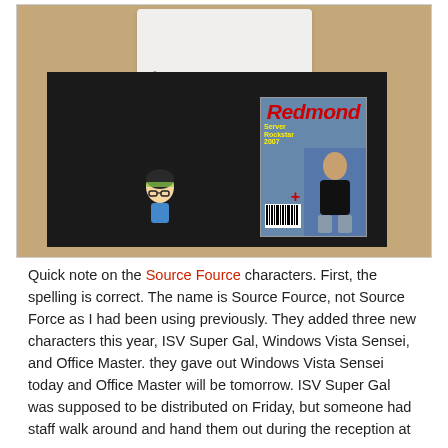[Figure (photo): A photograph showing items on a tan table surface: a white folded t-shirt at top, a silver metal slinky, a black mat/folder with a small figurine/doll on the left side of the mat and a Redmond magazine on the right side of the mat.]
Quick note on the Source Fource characters. First, the spelling is correct. The name is Source Fource, not Source Force as I had been using previously. They added three new characters this year, ISV Super Gal, Windows Vista Sensei, and Office Master. they gave out Windows Vista Sensei today and Office Master will be tomorrow. ISV Super Gal was supposed to be distributed on Friday, but someone had staff walk around and hand them out during the reception at